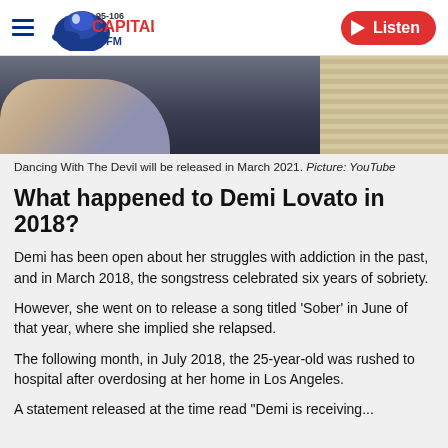Capital FM 95-106 | Listen
[Figure (photo): Photo of Demi Lovato sitting, wearing dark clothing, with a wooden paneled background. Only lower body and arm visible.]
Dancing With The Devil will be released in March 2021. Picture: YouTube
What happened to Demi Lovato in 2018?
Demi has been open about her struggles with addiction in the past, and in March 2018, the songstress celebrated six years of sobriety.
However, she went on to release a song titled ‘Sober’ in June of that year, where she implied she relapsed.
The following month, in July 2018, the 25-year-old was rushed to hospital after overdosing at her home in Los Angeles.
A statement released at the time read “Demi is receiving...